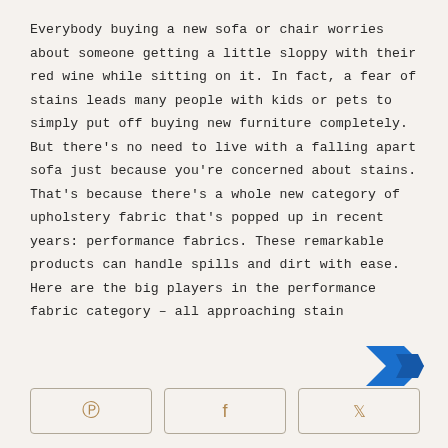Everybody buying a new sofa or chair worries about someone getting a little sloppy with their red wine while sitting on it. In fact, a fear of stains leads many people with kids or pets to simply put off buying new furniture completely. But there's no need to live with a falling apart sofa just because you're concerned about stains. That's because there's a whole new category of upholstery fabric that's popped up in recent years: performance fabrics. These remarkable products can handle spills and dirt with ease. Here are the big players in the performance fabric category – all approaching stain